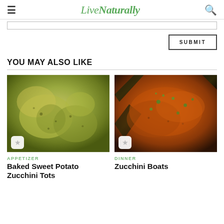LiveNaturally
SUBMIT
YOU MAY ALSO LIKE
[Figure (photo): Close-up photo of baked sweet potato zucchini tots, golden-green fried bites]
APPETIZER
Baked Sweet Potato Zucchini Tots
[Figure (photo): Zucchini boats filled with seasoned meat topping and garnished with fresh herbs]
DINNER
Zucchini Boats